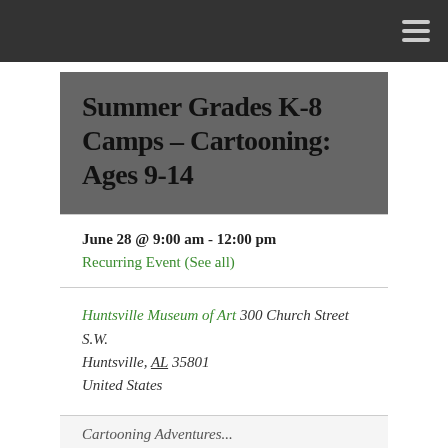Summer Grades K-8 Camps – Cartooning: Ages 9-14
June 28 @ 9:00 am - 12:00 pm
Recurring Event (See all)
Huntsville Museum of Art 300 Church Street S.W. Huntsville, AL 35801 United States